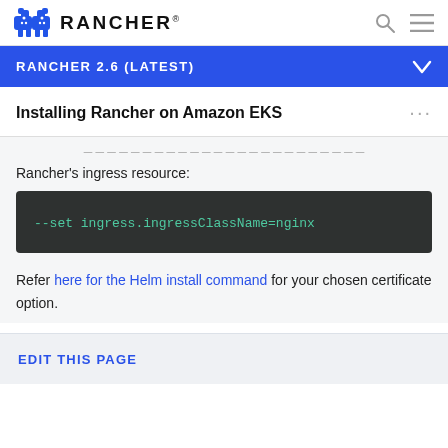RANCHER
RANCHER 2.6 (LATEST)
Installing Rancher on Amazon EKS
Rancher's ingress resource:
--set ingress.ingressClassName=nginx
Refer here for the Helm install command for your chosen certificate option.
EDIT THIS PAGE